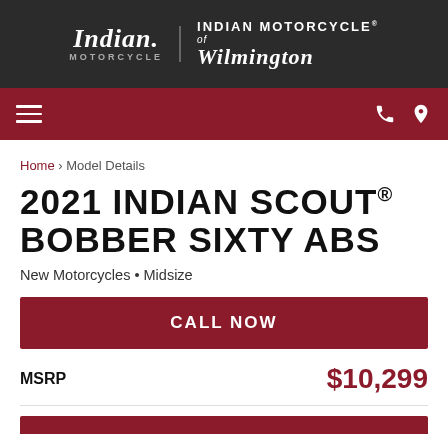[Figure (logo): Indian Motorcycle logo on dark background with 'INDIAN MOTORCYCLE of Wilmington' text]
Indian Motorcycle of Wilmington – navigation bar with hamburger menu, phone and location icons
Home › Model Details
2021 INDIAN SCOUT® BOBBER SIXTY ABS
New Motorcycles • Midsize
CALL NOW
MSRP $10,299